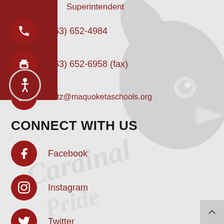[Figure (illustration): Gray cardinal bird mascot watermark in background, with 'Cardinal Pride' script text watermark]
Superintendent
(563) 652-4984
(563) 652-6958 (fax)
tnotz@maquoketaschools.org
CONNECT WITH US
Facebook
Instagram
Twitter
VISIT US